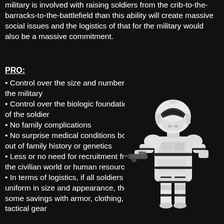military is involved with raising soldiers from the crib-to-the-barracks-to-the-battlefield than this ability will create massive social issues and the logistics of that for the military would also be a massive commitment.
PRO:
Control over the size and numbers of the military
Control over the biologic foundations of the soldier
No family complications
No surprise medical conditions born out of family history or genetics
Less or no need for recruitment from the civilian world or human resources
In terms of logistics, if all soldiers are uniform in size and appearance, there some savings with armor, clothing, and tactical gear
[Figure (illustration): A white-armored clone trooper / stormtrooper figure holding a weapon, set against a dark/black background. The figure wears full body white plate armor with dark accent straps.]